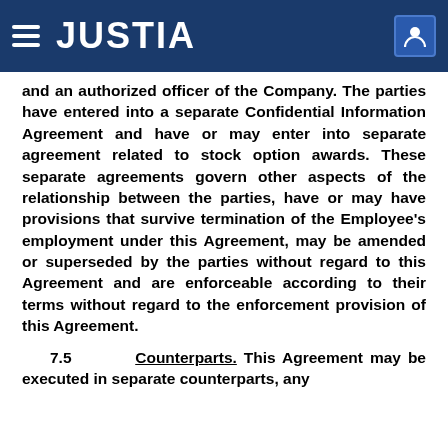JUSTIA
and an authorized officer of the Company. The parties have entered into a separate Confidential Information Agreement and have or may enter into separate agreement related to stock option awards. These separate agreements govern other aspects of the relationship between the parties, have or may have provisions that survive termination of the Employee's employment under this Agreement, may be amended or superseded by the parties without regard to this Agreement and are enforceable according to their terms without regard to the enforcement provision of this Agreement.
7.5 Counterparts. This Agreement may be executed in separate counterparts, any